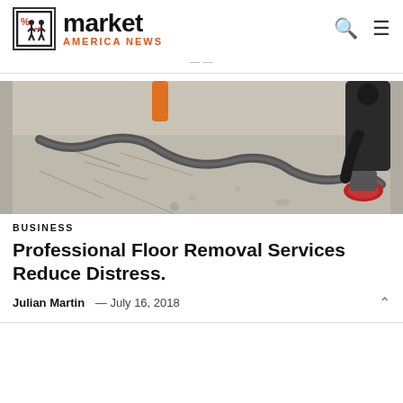market AMERICA NEWS
[Figure (photo): A worker kneeling on a concrete floor using a floor grinding/removal machine with a large flexible hose attachment. The floor has remnants of old tile being removed.]
BUSINESS
Professional Floor Removal Services Reduce Distress.
Julian Martin  —  July 16, 2018